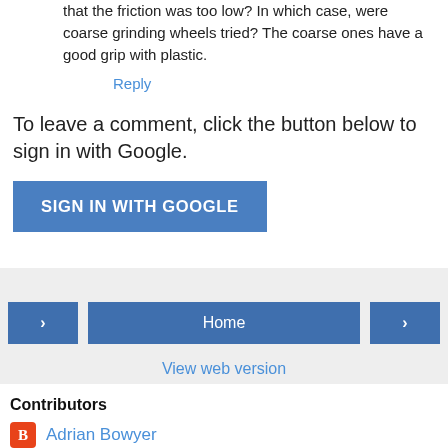that the friction was too low? In which case, were coarse grinding wheels tried? The coarse ones have a good grip with plastic.
Reply
To leave a comment, click the button below to sign in with Google.
[Figure (other): SIGN IN WITH GOOGLE button]
[Figure (other): Navigation bar with left arrow, Home button, and right arrow]
View web version
Contributors
Adrian Bowyer
Bogdan Kecman
Buzz
Christopher Olah